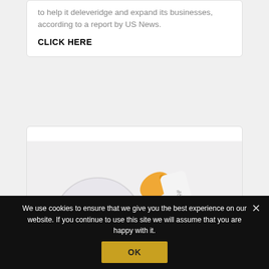to help it deleveridge and expand its businesses, according to a report by US News.
CLICK HERE
[Figure (photo): Flatlay product photo of Rodan + Fields skincare products including tubes and jars with purple, orange, and teal accents on a light background]
We use cookies to ensure that we give you the best experience on our website. If you continue to use this site we will assume that you are happy with it.
OK